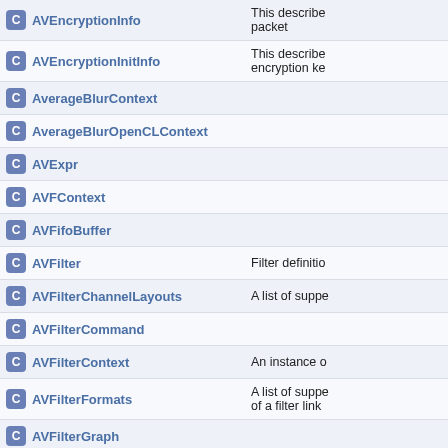| Name | Description |
| --- | --- |
| AVEncryptionInfo | This describe... packet |
| AVEncryptionInitInfo | This describe... encryption ke... |
| AverageBlurContext |  |
| AverageBlurOpenCLContext |  |
| AVExpr |  |
| AVFContext |  |
| AVFifoBuffer |  |
| AVFilter | Filter definitio... |
| AVFilterChannelLayouts | A list of suppe... |
| AVFilterCommand |  |
| AVFilterContext | An instance o... |
| AVFilterFormats | A list of suppe... of a filter link |
| AVFilterGraph |  |
| AVFilterGraphInternal |  |
| AVFilterInOut | A linked-list o... |